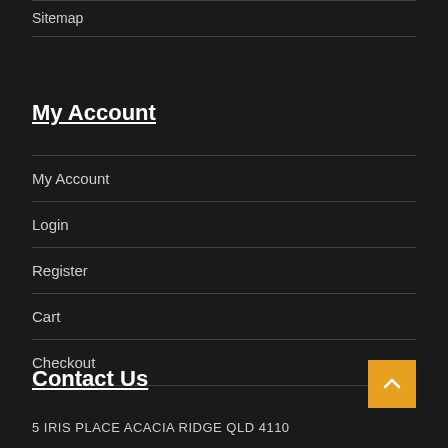Sitemap
My Account
My Account
Login
Register
Cart
Checkout
Contact Us
5 IRIS PLACE ACACIA RIDGE QLD 4110